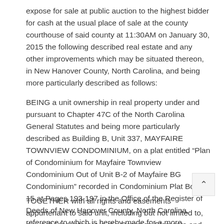expose for sale at public auction to the highest bidder for cash at the usual place of sale at the county courthouse of said county at 11:30AM on January 30, 2015 the following described real estate and any other improvements which may be situated thereon, in New Hanover County, North Carolina, and being more particularly described as follows:
BEING a unit ownership in real property under and pursuant to Chapter 47C of the North Carolina General Statutes and being more particularly described as Building B, Unit 337, MAYFAIRE TOWNVIEW CONDOMINIUM, on a plat entitled “Plan of Condominium for Mayfaire Townview Condominium Out of Unit B-2 of Mayfaire BG Condominium” recorded in Condominium Plat Book 15 at Pages 193-197 in the Office of the Register of Deeds of New Hanover County, North Carolina, reference to which is hereby made for a more particular description.
TOGETHER with all rights and easements appurtenant to said unit, including but not limited to, an undivided interest in the Common Elements and facilities MAYFAIRE TOWNVIEW CONDOMINIUM, as